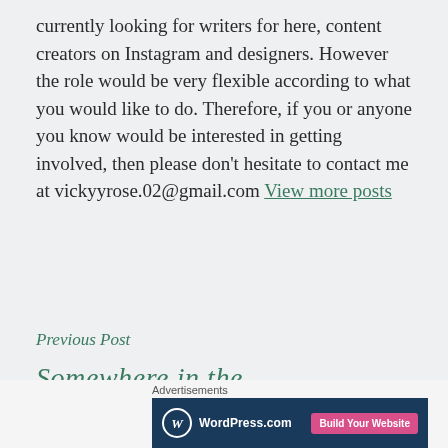currently looking for writers for here, content creators on Instagram and designers. However the role would be very flexible according to what you would like to do. Therefore, if you or anyone you know would be interested in getting involved, then please don't hesitate to contact me at vickyyrose.02@gmail.com View more posts
Previous Post
Advertisements
[Figure (screenshot): WordPress.com advertisement banner with blue background, WordPress logo on left and 'Build Your Website' pink button on right]